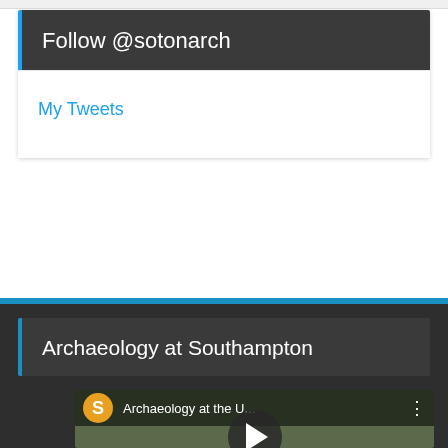Follow @sotonarch
My Tweets
Archaeology at Southampton
[Figure (screenshot): YouTube video thumbnail showing 'Archaeology at the U...' with a channel avatar showing letter S on gold background, three-dot menu icon, and a play button overlay on a landscape background.]